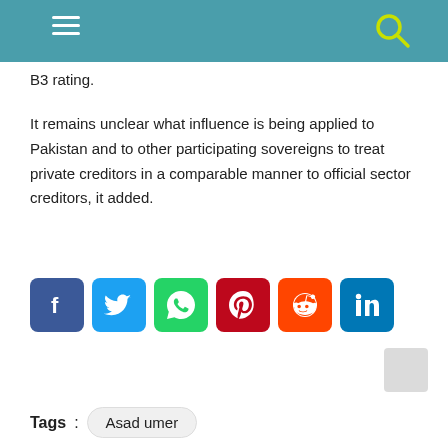Navigation bar with hamburger menu and search icon
B3 rating.
It remains unclear what influence is being applied to Pakistan and to other participating sovereigns to treat private creditors in a comparable manner to official sector creditors, it added.
[Figure (infographic): Social media share buttons: Facebook, Twitter, WhatsApp, Pinterest, Reddit, LinkedIn]
Tags : Asad umer